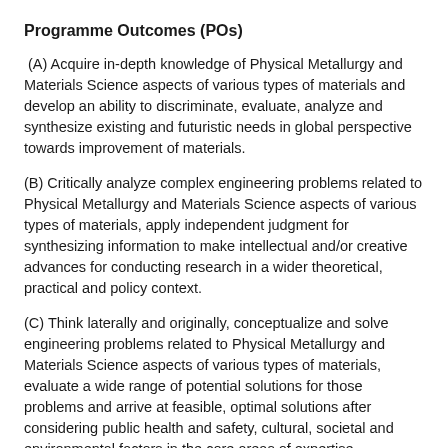Programme Outcomes (POs)
(A) Acquire in-depth knowledge of Physical Metallurgy and Materials Science aspects of various types of materials and develop an ability to discriminate, evaluate, analyze and synthesize existing and futuristic needs in global perspective towards improvement of materials.
(B) Critically analyze complex engineering problems related to Physical Metallurgy and Materials Science aspects of various types of materials, apply independent judgment for synthesizing information to make intellectual and/or creative advances for conducting research in a wider theoretical, practical and policy context.
(C) Think laterally and originally, conceptualize and solve engineering problems related to Physical Metallurgy and Materials Science aspects of various types of materials, evaluate a wide range of potential solutions for those problems and arrive at feasible, optimal solutions after considering public health and safety, cultural, societal and environmental factors in the core areas of expertise.